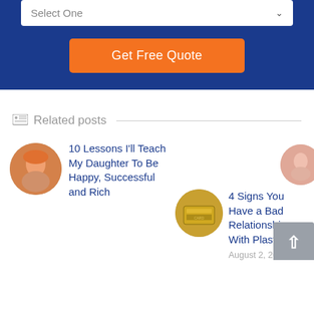[Figure (screenshot): Blue form panel with a 'Select One' dropdown and an orange 'Get Free Quote' button]
Related posts
[Figure (photo): Circular avatar of a child wearing an orange hat]
10 Lessons I'll Teach My Daughter To Be Happy, Successful and Rich
[Figure (photo): Circular image of credit/plastic cards]
4 Signs You Have a Bad Relationship With Plastic
August 2, 2015
[Figure (photo): Partially visible circular avatar on the right edge]